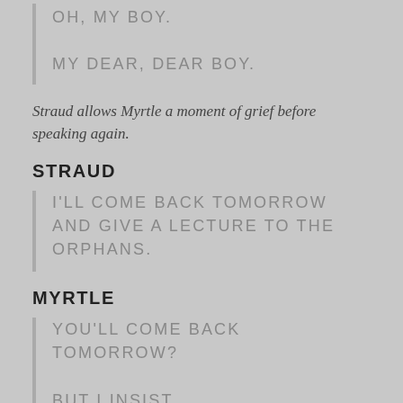OH, MY BOY.
MY DEAR, DEAR BOY.
Straud allows Myrtle a moment of grief before speaking again.
STRAUD
I'LL COME BACK TOMORROW AND GIVE A LECTURE TO THE ORPHANS.
MYRTLE
YOU'LL COME BACK TOMORROW?
BUT I INSIST...